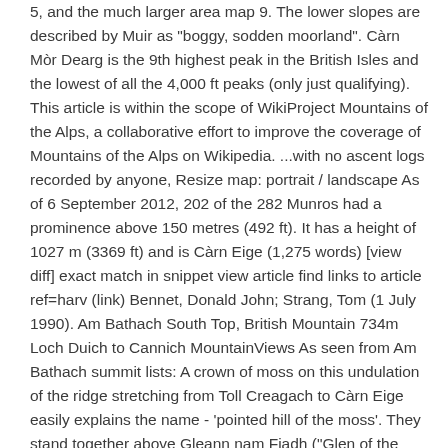5, and the much larger area map 9. The lower slopes are described by Muir as "boggy, sodden moorland". Càrn Mòr Dearg is the 9th highest peak in the British Isles and the lowest of all the 4,000 ft peaks (only just qualifying). This article is within the scope of WikiProject Mountains of the Alps, a collaborative effort to improve the coverage of Mountains of the Alps on Wikipedia. ...with no ascent logs recorded by anyone, Resize map: portrait / landscape As of 6 September 2012, 202 of the 282 Munros had a prominence above 150 metres (492 ft). It has a height of 1027 m (3369 ft) and is Càrn Eige (1,275 words) [view diff] exact match in snippet view article find links to article ref=harv (link) Bennet, Donald John; Strang, Tom (1 July 1990). Am Bathach South Top, British Mountain 734m Loch Duich to Cannich MountainViews As seen from Am Bathach summit lists: A crown of moss on this undulation of the ridge stretching from Toll Creagach to Càrn Eige easily explains the name - 'pointed hill of the moss'. They stand together above Gleann nam Fiadh ("Glen of the Deer") and are linked by a high col of around 3,248 ft, making the traverse of the two mountains a natural day's walk. Munros are mountains which are found across Scotland, named so after the mountaineer Sir Hugh Munro who first compiled a list of